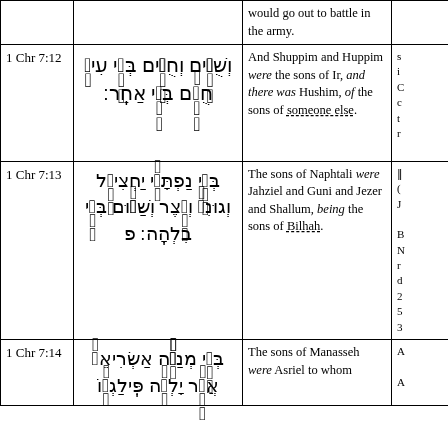| Ref | Hebrew | English | Right col |
| --- | --- | --- | --- |
|  |  | would go out to battle in the army. |  |
| 1 Chr 7:12 | וְשֻׁפִּים וְחֻפִּים בְּנֵי עִיר חֻשִׁם בְּנֵי אַחֵר׃ | And Shuppim and Huppim were the sons of Ir, and there was Hushim, of the sons of someone else. | s i C c t r |
| 1 Chr 7:13 | בְּנֵי נַפְתָּלִי יַחְצִיאֵל וְגוּנִי וְיֵצֶר וְשַׁלּוּם בְּנֵי בִלְהָה׃ פ | The sons of Naphtali were Jahziel and Guni and Jezer and Shallum, being the sons of Bilhah. |  |
| 1 Chr 7:14 | בְּנֵי מְנַשֶּׁה אַשְׂרִיאֵל אֲשֶׁר יָלְדָה פִּלַגְשׁוֹ | The sons of Manasseh were Asriel to whom | A |